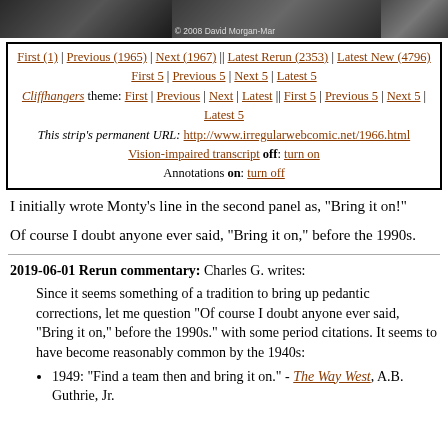[Figure (photo): Three comic strip panels visible as a horizontal strip at top of page; leftmost shows machinery, center has copyright text '© 2008 David Morgan-Mar', rightmost partially visible.]
First (1) | Previous (1965) | Next (1967) || Latest Rerun (2353) | Latest New (4796)
First 5 | Previous 5 | Next 5 | Latest 5
Cliffhangers theme: First | Previous | Next | Latest || First 5 | Previous 5 | Next 5 | Latest 5
This strip's permanent URL: http://www.irregularwebcomic.net/1966.html
Vision-impaired transcript off: turn on
Annotations on: turn off
I initially wrote Monty's line in the second panel as, "Bring it on!"
Of course I doubt anyone ever said, "Bring it on," before the 1990s.
2019-06-01 Rerun commentary: Charles G. writes:
Since it seems something of a tradition to bring up pedantic corrections, let me question "Of course I doubt anyone ever said, "Bring it on," before the 1990s." with some period citations. It seems to have become reasonably common by the 1940s:
1949: "Find a team then and bring it on." - The Way West, A.B. Guthrie, Jr.